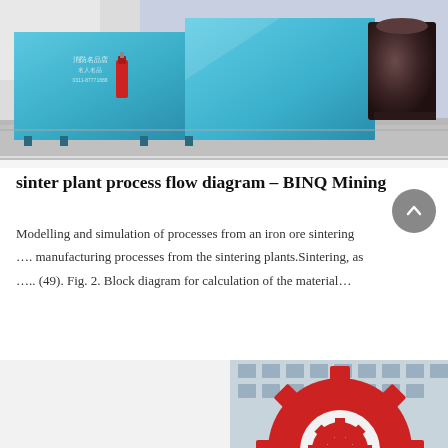[Figure (photo): Industrial blue metal equipment/containers outdoors at a factory or plant facility, with a dark machine on the right side. Ground is concrete/grey.]
sinter plant process flow diagram - BINQ Mining
Modelling and simulation of processes from an iron ore sintering …. manufacturing processes from the sintering plants.Sintering, as ….. (49). Fig. 2. Block diagram for calculation of the material…
[Figure (photo): Large red industrial gear/wheel sculpture or machinery component in front of a multi-story building.]